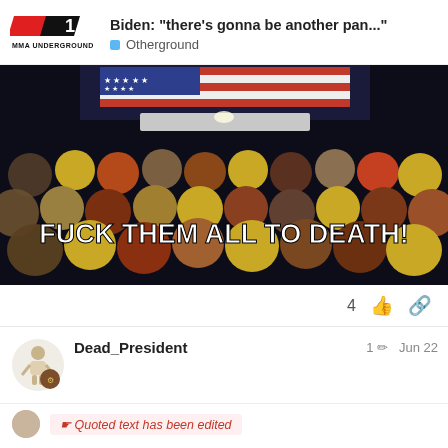Biden: "there's gonna be another pan..." — Otherground — MMA Underground
[Figure (screenshot): Video screenshot showing animated crowd of people in front of US flag with caption text 'FUCK THEM ALL TO DEATH!' and video controls showing 0:00]
4
Dead_President
1  Jun 22
☛ Quoted text has been edited